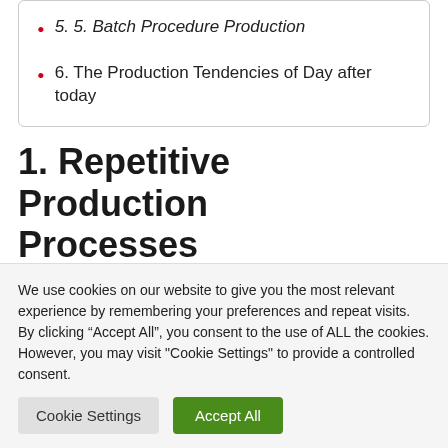5. 5. Batch Procedure Production
6. The Production Tendencies of Day after today
1. Repetitive Production Processes
This is among the maximum commonplace product production processes on this planet these days. That is particularly so for low-tech merchandise with a small
We use cookies on our website to give you the most relevant experience by remembering your preferences and repeat visits. By clicking “Accept All”, you consent to the use of ALL the cookies. However, you may visit "Cookie Settings" to provide a controlled consent.